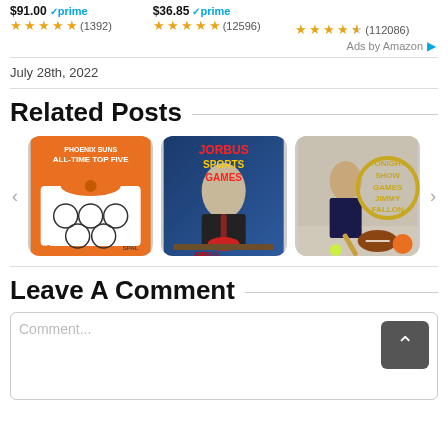$91.00 prime  (1392)  |  $36.85 prime  (12596)  |  (112086)
Ads by Amazon
July 28th, 2022
Related Posts
[Figure (photo): Phoenix Suns All-Time Top Five - basketball court graphic with player names]
[Figure (photo): Jorbus Sports Games - man in suit at desk with headphones]
[Figure (photo): Tonight Show Games Jimmy Fallon - man with sports equipment]
Leave A Comment
Comment...